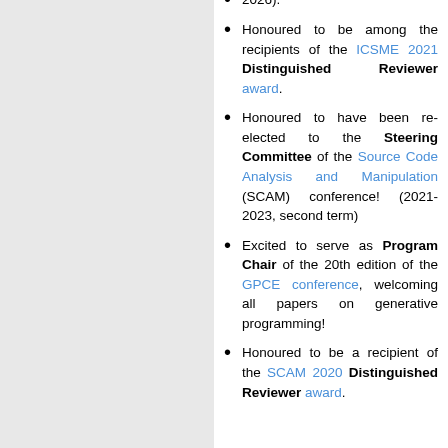2026).
Honoured to be among the recipients of the ICSME 2021 Distinguished Reviewer award.
Honoured to have been re-elected to the Steering Committee of the Source Code Analysis and Manipulation (SCAM) conference! (2021-2023, second term)
Excited to serve as Program Chair of the 20th edition of the GPCE conference, welcoming all papers on generative programming!
Honoured to be a recipient of the SCAM 2020 Distinguished Reviewer award.